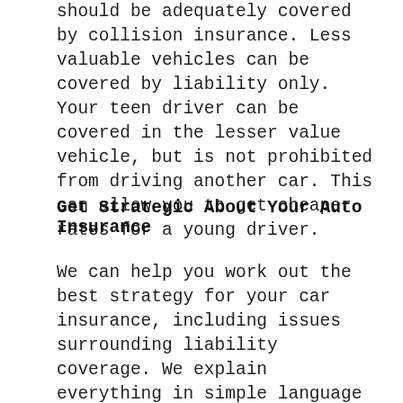should be adequately covered by collision insurance. Less valuable vehicles can be covered by liability only. Your teen driver can be covered in the lesser value vehicle, but is not prohibited from driving another car. This can allow you to get cheaper rates for a young driver.
Get Strategic About Your Auto Insurance
We can help you work out the best strategy for your car insurance, including issues surrounding liability coverage. We explain everything in simple language and can help you work out a strategy so you get the best coverage at the lowest price. We can also review your existing coverage if you think it's time for a change. We